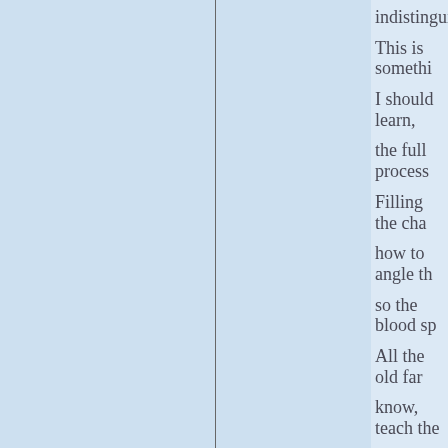indistinguishable
This is somethin
I should learn,
the full process.
Filling the cham
how to angle the
so the blood spi
All the old farm
know, teach the
I could be one
with a gun. Just
cock the handle
and be ready to
the recoil, the h